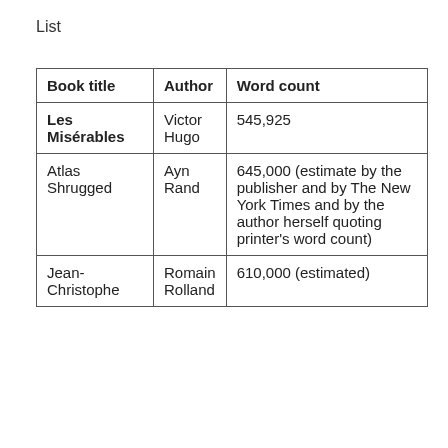List
| Book title | Author | Word count |
| --- | --- | --- |
| Les Misérables | Victor Hugo | 545,925 |
| Atlas Shrugged | Ayn Rand | 645,000 (estimate by the publisher and by The New York Times and by the author herself quoting printer's word count) |
| Jean-Christophe | Romain Rolland | 610,000 (estimated) |